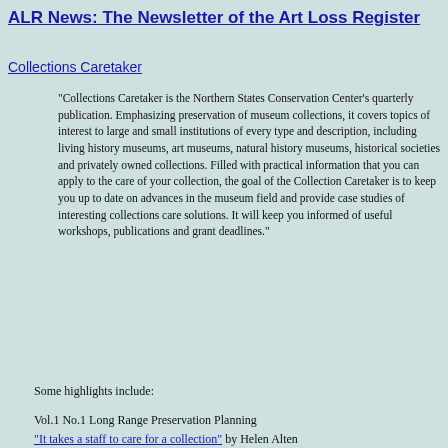ALR News: The Newsletter of the Art Loss Register
Collections Caretaker
"Collections Caretaker is the Northern States Conservation Center's quarterly publication. Emphasizing preservation of museum collections, it covers topics of interest to large and small institutions of every type and description, including living history museums, art museums, natural history museums, historical societies and privately owned collections. Filled with practical information that you can apply to the care of your collection, the goal of the Collection Caretaker is to keep you up to date on advances in the museum field and provide case studies of interesting collections care solutions. It will keep you informed of useful workshops, publications and grant deadlines."
Some highlights include:
Vol.1 No.1 Long Range Preservation Planning
"It takes a staff to care for a collection" by Helen Alten